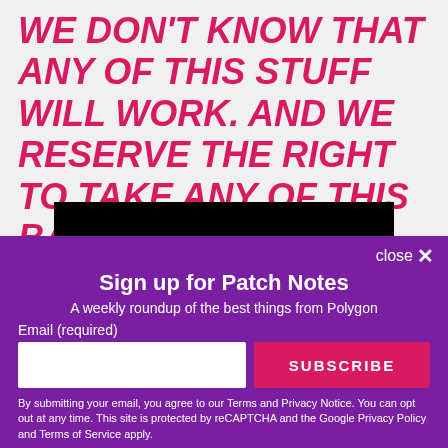WE DON'T KNOW THAT ANY OF THIS STUFF WILL WORK. AND WE RESERVE THE RIGHT TO TAKE ANY OF THIS BACK."
[Figure (screenshot): Black banner with text 'EXTENDED VERSION' in white bold letters with a golden glow at the bottom]
close ✕
Sign up for Patch Notes
A weekly roundup of the best things from Polygon
Email (required)
SUBSCRIBE
By submitting your email, you agree to our Terms and Privacy Notice. You can opt out at any time. This site is protected by reCAPTCHA and the Google Privacy Policy and Terms of Service apply.